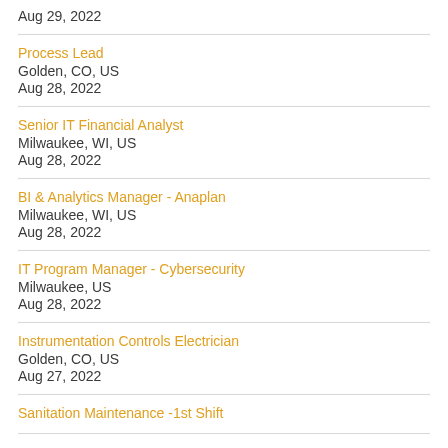Aug 29, 2022
Process Lead
Golden, CO, US
Aug 28, 2022
Senior IT Financial Analyst
Milwaukee, WI, US
Aug 28, 2022
BI & Analytics Manager - Anaplan
Milwaukee, WI, US
Aug 28, 2022
IT Program Manager - Cybersecurity
Milwaukee, US
Aug 28, 2022
Instrumentation Controls Electrician
Golden, CO, US
Aug 27, 2022
Sanitation Maintenance -1st Shift